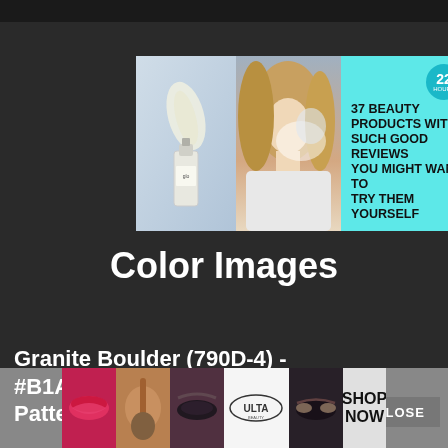[Figure (screenshot): Advertisement banner with teal background showing beauty products and text '37 BEAUTY PRODUCTS WITH SUCH GOOD REVIEWS YOU MIGHT WANT TO TRY THEM YOURSELF' with a '22' badge and close button]
Color Images
Granite Boulder (790D-4) - #B1AEA2 Color Images and Patterns
[Figure (screenshot): ULTA beauty advertisement banner at bottom with makeup images and 'SHOP NOW' button, with CLOSE button overlay]